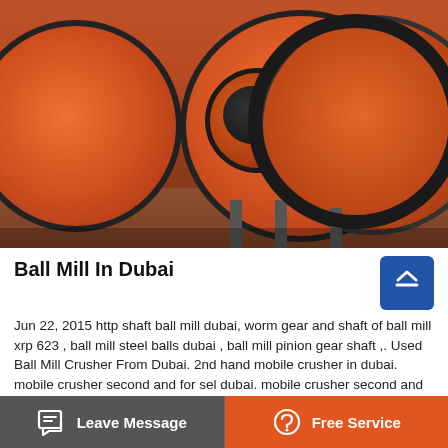[Figure (photo): Large orange industrial ball mills in a warehouse/factory setting. Multiple cylindrical orange ball mill units on steel supports with visible gear rings and feed inlet openings.]
Ball Mill In Dubai
Jun 22, 2015 http shaft ball mill dubai, worm gear and shaft of ball mill xrp 623 , ball mill steel balls dubai , ball mill pinion gear shaft ,. Used Ball Mill Crusher From Dubai. 2nd hand mobile crusher in dubai. mobile crusher second and for sel dubai. mobile crusher second and for sel dubai, Used Ball Mill and Crusher for Sale.
Leave Message   Free Service